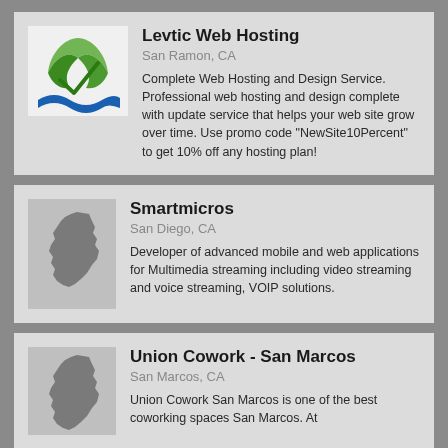[Figure (logo): Levtic Web Hosting logo: green leaf/check mark with blue wave]
Levtic Web Hosting
San Ramon, CA
Complete Web Hosting and Design Service. Professional web hosting and design complete with update service that helps your web site grow over time. Use promo code "NewSite10Percent" to get 10% off any hosting plan!
[Figure (illustration): California state silhouette icon in gray]
Smartmicros
San Diego, CA
Developer of advanced mobile and web applications for Multimedia streaming including video streaming and voice streaming, VOIP solutions.
[Figure (illustration): California state silhouette icon in gray]
Union Cowork - San Marcos
San Marcos, CA
Union Cowork San Marcos is one of the best coworking spaces San Marcos. At